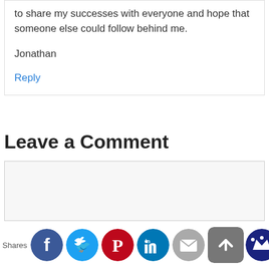to share my successes with everyone and hope that someone else could follow behind me.
Jonathan
Reply
Leave a Comment
[Figure (other): Comment text input box (empty, light gray background)]
[Figure (infographic): Social share icons row: Facebook (blue), Twitter (light blue), Pinterest (red), LinkedIn (dark teal), Email (gray), and a crown icon (dark blue). Shares label on the left.]